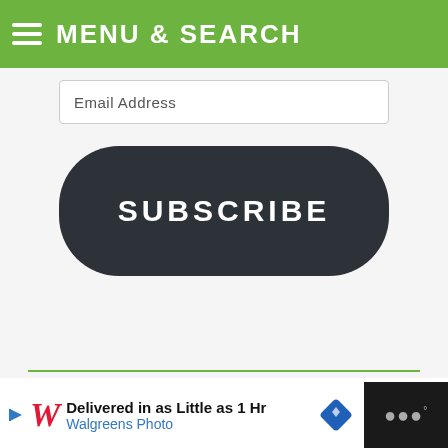MENU & SEARCH
Email Address
SUBSCRIBE
We use cookies on our website to give you the most relevant experience by remembering your preferences and repeat visits. By clicking “Accept”, you consent to the use of ALL the cookies.
Do not sell my personal information
Delivered in as Little as 1 Hr Walgreens Photo